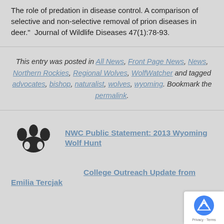The role of predation in disease control. A comparison of selective and non-selective removal of prion diseases in deer." Journal of Wildlife Diseases 47(1):78-93.
This entry was posted in All News, Front Page News, News, Northern Rockies, Regional Wolves, WolfWatcher and tagged advocates, bishop, naturalist, wolves, wyoming. Bookmark the permalink.
NWC Public Statement: 2013 Wyoming Wolf Hunt
College Outreach Update from Emilia Tercjak